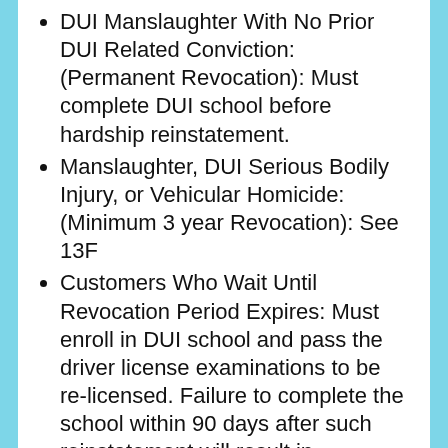DUI Manslaughter With No Prior DUI Related Conviction: (Permanent Revocation): Must complete DUI school before hardship reinstatement.
Manslaughter, DUI Serious Bodily Injury, or Vehicular Homicide: (Minimum 3 year Revocation): See 13F
Customers Who Wait Until Revocation Period Expires: Must enroll in DUI school and pass the driver license examinations to be re-licensed. Failure to complete the school within 90 days after such reinstatement will result in cancellation of the license until the school is completed.
Reckless Driving: If the court has reasonabl[obscured] believe that